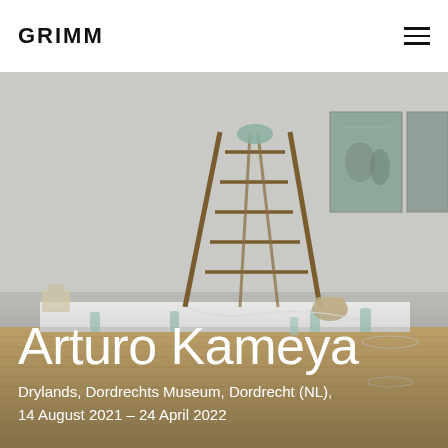GRIMM
[Figure (photo): Gallery installation view showing a wooden stepladder on a white platform, glass bottles and objects arranged on the floor, with two framed paintings on the wall in the background. Natural wood flooring visible.]
Arturo Kameya
Drylands, Dordrechts Museum, Dordrecht (NL), 14 August 2021 – 24 April 2022